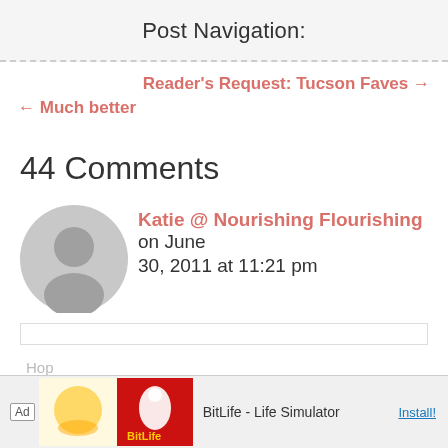Post Navigation:
Reader's Request: Tucson Faves →
← Much better
44 Comments
Katie @ Nourishing Flourishing on June 30, 2011 at 11:21 pm
[Figure (other): Ad banner: BitLife - Life Simulator with Install button]